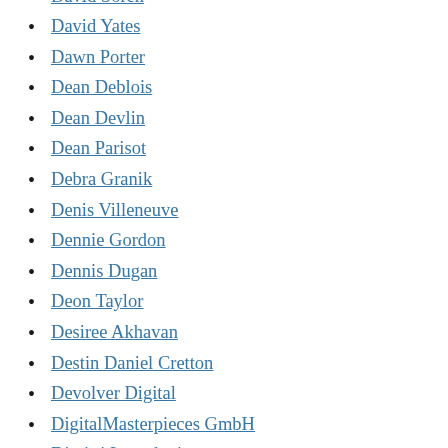David Soren
David Yates
Dawn Porter
Dean Deblois
Dean Devlin
Dean Parisot
Debra Granik
Denis Villeneuve
Dennie Gordon
Dennis Dugan
Deon Taylor
Desiree Akhavan
Destin Daniel Cretton
Devolver Digital
DigitalMasterpieces GmbH
Dimitri Logothetis
Dinesh D’Souza, Bruce Schooley & Debbie D’souza
Documentary